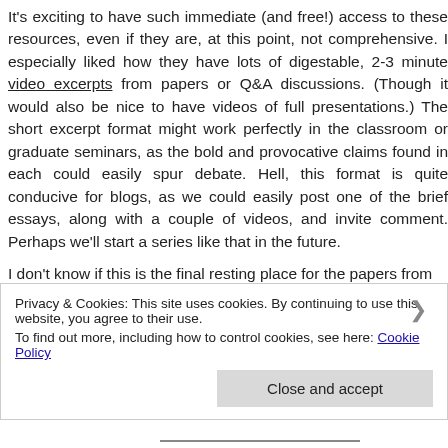It's exciting to have such immediate (and free!) access to these resources, even if they are, at this point, not comprehensive. I especially liked how they have lots of digestable, 2-3 minute video excerpts from papers or Q&A discussions. (Though it would also be nice to have videos of full presentations.) The short excerpt format might work perfectly in the classroom or graduate seminars, as the bold and provocative claims found in each could easily spur debate. Hell, this format is quite conducive for blogs, as we could easily post one of the brief essays, along with a couple of videos, and invite comment. Perhaps we'll start a series like that in the future.
I don't know if this is the final resting place for the papers from...
Privacy & Cookies: This site uses cookies. By continuing to use this website, you agree to their use. To find out more, including how to control cookies, see here: Cookie Policy